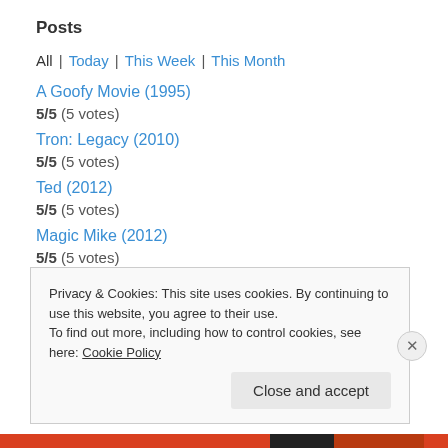Posts
All | Today | This Week | This Month
A Goofy Movie (1995)
5/5 (5 votes)
Tron: Legacy (2010)
5/5 (5 votes)
Ted (2012)
5/5 (5 votes)
Magic Mike (2012)
5/5 (5 votes)
Skyfall (2012)
5/5 (5 votes)
Privacy & Cookies: This site uses cookies. By continuing to use this website, you agree to their use.
To find out more, including how to control cookies, see here: Cookie Policy
Close and accept